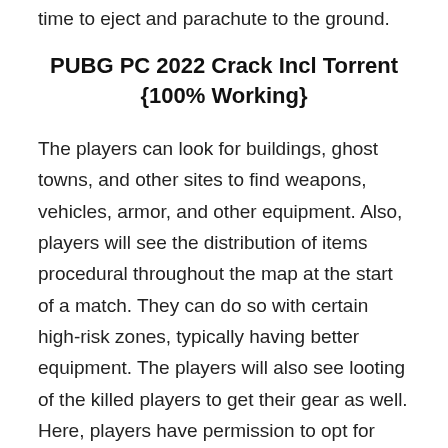time to eject and parachute to the ground.
PUBG PC 2022 Crack Incl Torrent {100% Working}
The players can look for buildings, ghost towns, and other sites to find weapons, vehicles, armor, and other equipment. Also, players will see the distribution of items procedural throughout the map at the start of a match. They can do so with certain high-risk zones, typically having better equipment. The players will also see looting of the killed players to get their gear as well. Here, players have permission to opt for playing either from the first-person or third-person perspective.  It is clear though server-specific settings that the players use